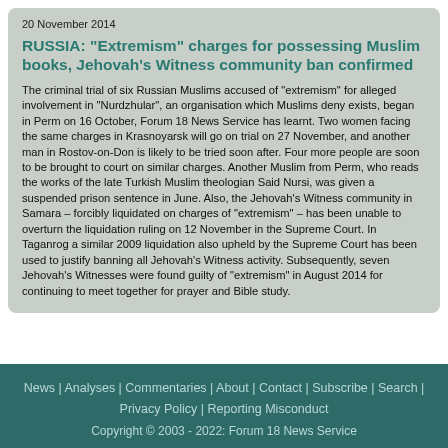20 November 2014
RUSSIA: "Extremism" charges for possessing Muslim books, Jehovah's Witness community ban confirmed
The criminal trial of six Russian Muslims accused of "extremism" for alleged involvement in "Nurdzhular", an organisation which Muslims deny exists, began in Perm on 16 October, Forum 18 News Service has learnt. Two women facing the same charges in Krasnoyarsk will go on trial on 27 November, and another man in Rostov-on-Don is likely to be tried soon after. Four more people are soon to be brought to court on similar charges. Another Muslim from Perm, who reads the works of the late Turkish Muslim theologian Said Nursi, was given a suspended prison sentence in June. Also, the Jehovah's Witness community in Samara – forcibly liquidated on charges of "extremism" – has been unable to overturn the liquidation ruling on 12 November in the Supreme Court. In Taganrog a similar 2009 liquidation also upheld by the Supreme Court has been used to justify banning all Jehovah's Witness activity. Subsequently, seven Jehovah's Witnesses were found guilty of "extremism" in August 2014 for continuing to meet together for prayer and Bible study.
News | Analyses | Commentaries | About | Contact | Subscribe | Search | Privacy Policy | Reporting Misconduct Copyright © 2003 - 2022: Forum 18 News Service